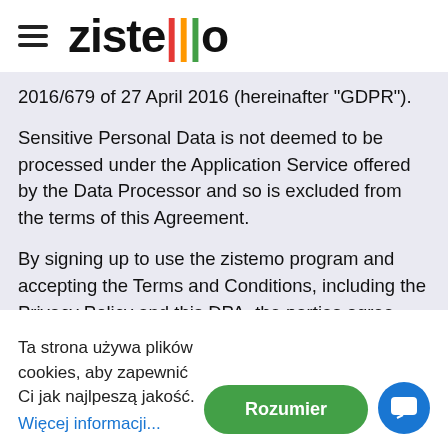zistemo
2016/679 of 27 April 2016 (hereinafter "GDPR").
Sensitive Personal Data is not deemed to be processed under the Application Service offered by the Data Processor and so is excluded from the terms of this Agreement.
By signing up to use the zistemo program and accepting the Terms and Conditions, including the Privacy Policy and this DPA, the parties agree under all national data protection laws and under GDPR that this Agreement governs the relationship between
Ta strona używa plików cookies, aby zapewnić Ci jak najlpeszą jakość.
Więcej informacji...